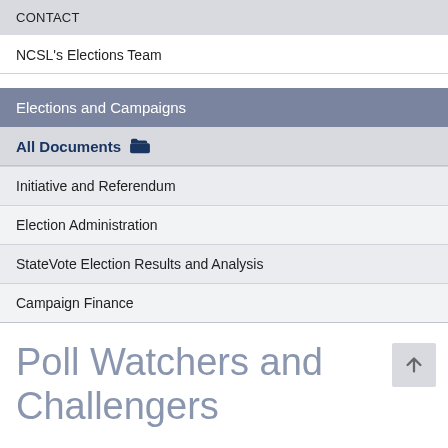CONTACT
NCSL's Elections Team
Elections and Campaigns
All Documents
Initiative and Referendum
Election Administration
StateVote Election Results and Analysis
Campaign Finance
Poll Watchers and Challengers